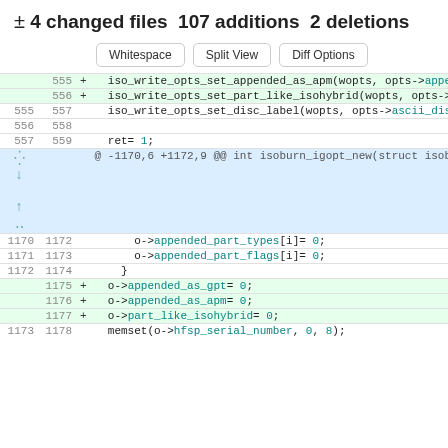± 4 changed files 107 additions 2 deletions
[Figure (screenshot): Git diff view with Whitespace, Split View, Diff Options buttons and code diff showing additions to iso_write_opts and isoburn_igopt functions]
555 + iso_write_opts_set_appended_as_apm(wopts, opts->appended_as_apm);
556 + iso_write_opts_set_part_like_isohybrid(wopts, opts->part_like_isohybrid);
555 557 iso_write_opts_set_disc_label(wopts, opts->ascii_disc_label);
556 558
557 559 ret= 1;
@ -1170,6 +1172,9 @@ int isoburn_igopt_new(struct isoburn_imgen_opts **new_o, int flag)
1170 1172 o->appended_part_types[i]= 0;
1171 1173 o->appended_part_flags[i]= 0;
1172 1174 }
1175 + o->appended_as_gpt= 0;
1176 + o->appended_as_apm= 0;
1177 + o->part_like_isohybrid= 0;
1173 1178 memset(o->hfsp_serial_number, 0, 8);